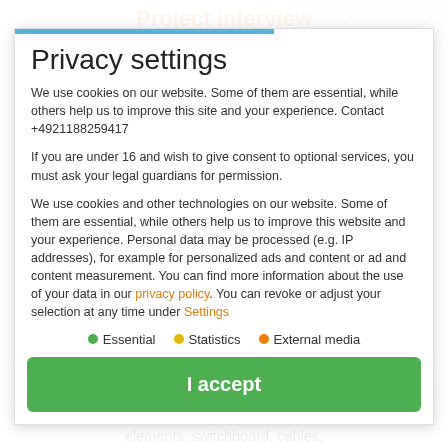Project interview
Privacy settings
We use cookies on our website. Some of them are essential, while others help us to improve this site and your experience. Contact +4921188259417
If you are under 16 and wish to give consent to optional services, you must ask your legal guardians for permission.
We use cookies and other technologies on our website. Some of them are essential, while others help us to improve this website and your experience. Personal data may be processed (e.g. IP addresses), for example for personalized ads and content or ad and content measurement. You can find more information about the use of your data in our privacy policy. You can revoke or adjust your selection at any time under Settings
Essential
Statistics
External media
I accept
elements, switchboard, cables,